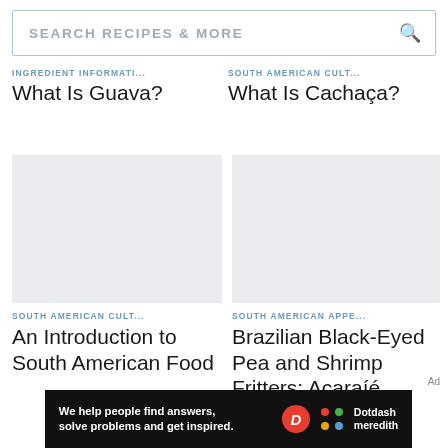SEARCH RECIPES & MORE
INGREDIENT INFORMATI...
What Is Guava?
SOUTH AMERICAN CULT...
What Is Cachaça?
[Figure (photo): Placeholder image for An Introduction to South American Food]
SOUTH AMERICAN CULT...
An Introduction to South American Food
[Figure (photo): Placeholder image for Brazilian Black-Eyed Pea and Shrimp Fritters: Acarajé]
SOUTH AMERICAN APPE...
Brazilian Black-Eyed Pea and Shrimp Fritters: Acarajé
Ad
We help people find answers, solve problems and get inspired. Dotdash meredith